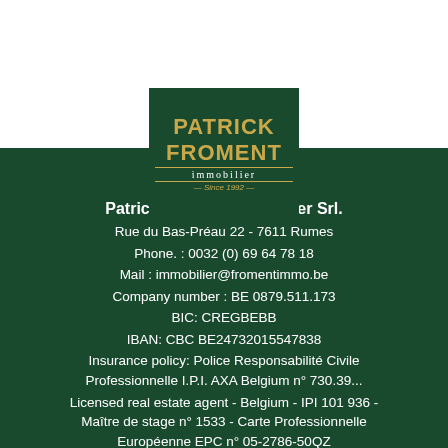[Figure (logo): Patrick Froment Immobilier logo — dark green rectangle with gold PATRICK FROMENT text, white immobilier text, and Since 1992 tagline]
Patrick Froment Immobilier Srl.
Rue du Bas-Préau 22 - 7611 Rumes
Phone. : 0032 (0) 69 64 78 18
Mail : immobilier@fromentimmo.be
Company number : BE 0879.511.173
BIC: CREGBEBB
IBAN: CBC BE24732015547838
Insurance policy: Police Responsabilité Civile Professionnelle I.P.I. AXA Belgium n° 730.39...
Licensed real estate agent - Belgium - IPI 101 936 - Maître de stage n° 1533 - Carte Professionnelle Européenne EPC n° 05-2786-50QZ